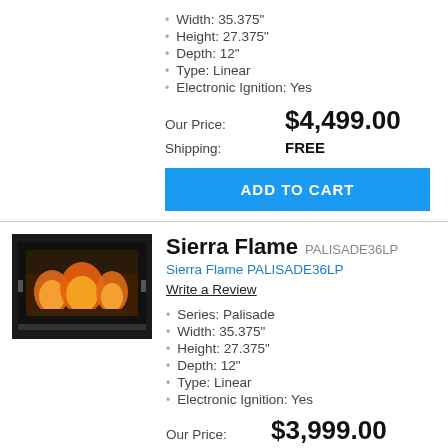Width: 35.375"
Height: 27.375"
Depth: 12"
Type: Linear
Electronic Ignition: Yes
Our Price: $4,499.00
Shipping: FREE
ADD TO CART
[Figure (photo): Product photo of Sierra Flame PALISADE36LP fireplace insert, black frame with flames visible through glass]
Sierra Flame PALISADE36LP
Sierra Flame PALISADE36LP
Write a Review
Series: Palisade
Width: 35.375"
Height: 27.375"
Depth: 12"
Type: Linear
Electronic Ignition: Yes
Our Price: $3,999.00
Shipping: FREE